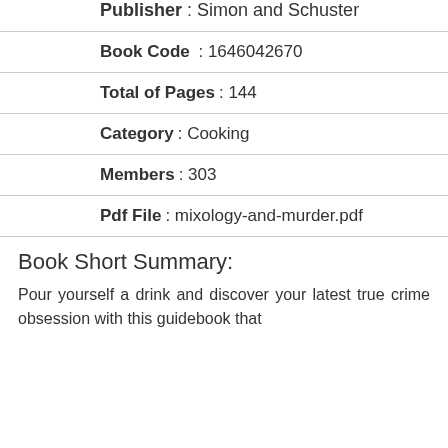Publisher : Simon and Schuster
Book Code : 1646042670
Total of Pages : 144
Category : Cooking
Members : 303
Pdf File: mixology-and-murder.pdf
Book Short Summary:
Pour yourself a drink and discover your latest true crime obsession with this guidebook that